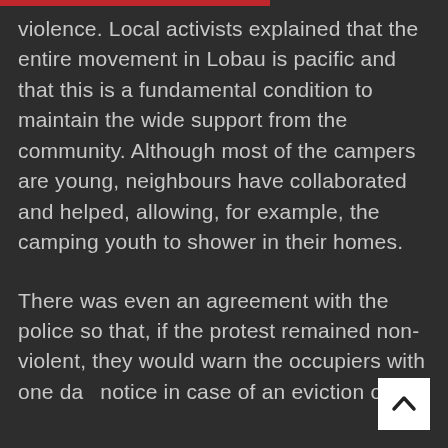violence. Local activists explained that the entire movement in Lobau is pacific and that this is a fundamental condition to maintain the wide support from the community. Although most of the campers are young, neighbours have collaborated and helped, allowing, for example, the camping youth to shower in their homes.
There was even an agreement with the police so that, if the protest remained non-violent, they would warn the occupiers with one day notice in case of an eviction order.